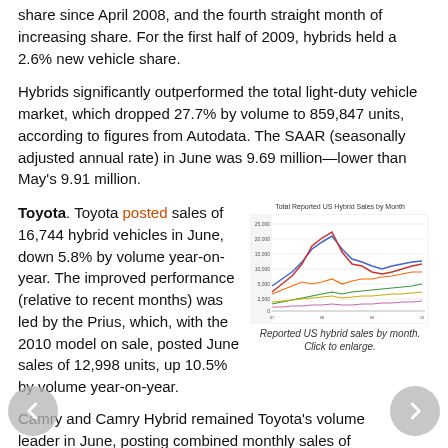share since April 2008, and the fourth straight month of increasing share. For the first half of 2009, hybrids held a 2.6% new vehicle share.
Hybrids significantly outperformed the total light-duty vehicle market, which dropped 27.7% by volume to 859,847 units, according to figures from Autodata. The SAAR (seasonally adjusted annual rate) in June was 9.69 million—lower than May's 9.91 million.
Toyota. Toyota posted sales of 16,744 hybrid vehicles in June, down 5.8% by volume year-on-year. The improved performance (relative to recent months) was led by the Prius, which, with the 2010 model on sale, posted June sales of 12,998 units, up 10.5% by volume year-on-year.
[Figure (line-chart): Multi-line chart showing reported US hybrid sales by month with several colored lines representing different models/brands]
Reported US hybrid sales by month. Click to enlarge.
Camry and Camry Hybrid remained Toyota's volume leader in June, posting combined monthly sales of 26,394 units, with Camry Hybrid accounting for 2,093 units, or